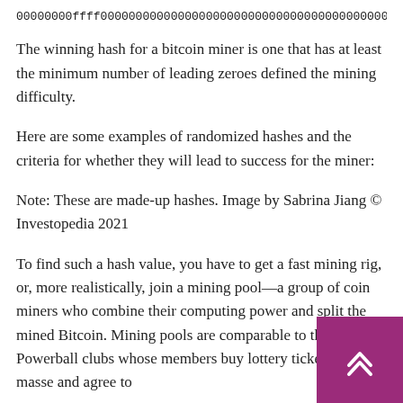00000000ffff0000000000000000000000000000000000000000000…
The winning hash for a bitcoin miner is one that has at least the minimum number of leading zeroes defined the mining difficulty.
Here are some examples of randomized hashes and the criteria for whether they will lead to success for the miner:
Note: These are made-up hashes. Image by Sabrina Jiang © Investopedia 2021
To find such a hash value, you have to get a fast mining rig, or, more realistically, join a mining pool—a group of coin miners who combine their computing power and split the mined Bitcoin. Mining pools are comparable to those Powerball clubs whose members buy lottery tickets en masse and agree to